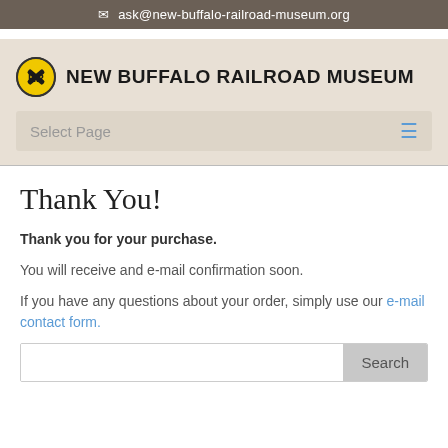ask@new-buffalo-railroad-museum.org
[Figure (logo): New Buffalo Railroad Museum logo with railroad crossing sign icon and text NEW BUFFALO RAILROAD MUSEUM]
Select Page
Thank You!
Thank you for your purchase.
You will receive and e-mail confirmation soon.
If you have any questions about your order, simply use our e-mail contact form.